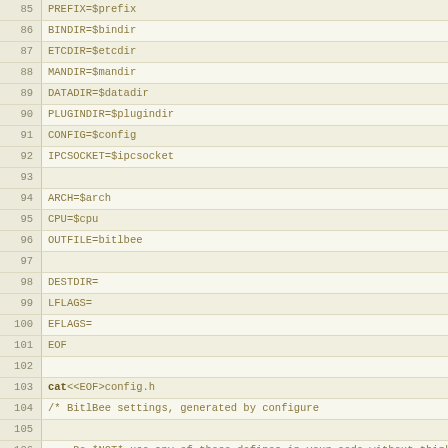Code listing lines 85-116 of a configure shell script and generated config.h
85  PREFIX=$prefix
86  BINDIR=$bindir
87  ETCDIR=$etcdir
88  MANDIR=$mandir
89  DATADIR=$datadir
90  PLUGINDIR=$plugindir
91  CONFIG=$config
92  IPCSOCKET=$ipcsocket
93
94  ARCH=$arch
95  CPU=$cpu
96  OUTFILE=bitlbee
97
98  DESTDIR=
99  LFLAGS=
100 EFLAGS=
101 EOF
102
103 cat<<EOF>config.h
104 /* BitlBee settings, generated by configure
105
106     Do *NOT* use any of these defines in your code without thinking twice, most
107     of them can/will be overridden at run-time */
108
109 #define CONFIG "$config"
110 #define ETCDIR "$etcdir"
111 #define VARDIR "$datadir"
112 #define PLUGINDIR "$plugindir"
113 #define PIDFILE "$pidfile"
114 #define IPCSOCKET "$ipcsocket"
115 #define ARCH "$arch"
116 #define CPU "$cpu"